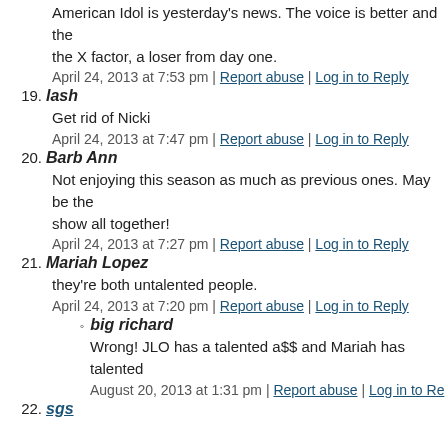American Idol is yesterday's news. The voice is better and the X factor, a loser from day one.
April 24, 2013 at 7:53 pm | Report abuse | Log in to Reply
19. lash
Get rid of Nicki
April 24, 2013 at 7:47 pm | Report abuse | Log in to Reply
20. Barb Ann
Not enjoying this season as much as previous ones. May be the show all together!
April 24, 2013 at 7:27 pm | Report abuse | Log in to Reply
21. Mariah Lopez
they're both untalented people.
April 24, 2013 at 7:20 pm | Report abuse | Log in to Reply
big richard
Wrong! JLO has a talented a$$ and Mariah has talented
August 20, 2013 at 1:31 pm | Report abuse | Log in to Re…
22. sgs